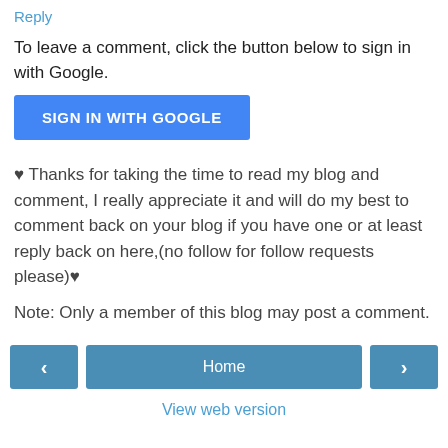Reply
To leave a comment, click the button below to sign in with Google.
[Figure (other): Blue 'SIGN IN WITH GOOGLE' button]
♥ Thanks for taking the time to read my blog and comment, I really appreciate it and will do my best to comment back on your blog if you have one or at least reply back on here,(no follow for follow requests please)♥
Note: Only a member of this blog may post a comment.
[Figure (other): Navigation bar with left arrow button, Home button, and right arrow button]
View web version